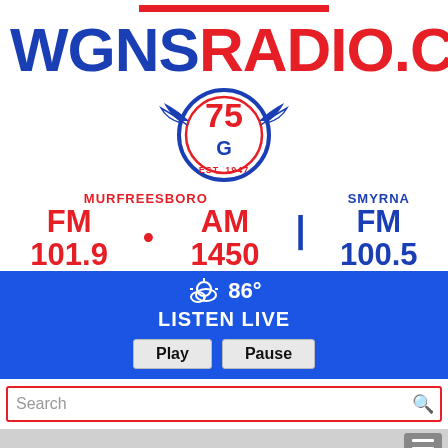[Figure (logo): WGNS Radio logo with WGNSRADIO.COM text in blue and red, 75th anniversary badge with EST. 1947]
MURFREESBORO FM 101.9 • AM 1450 | SMYRNA FM 100.5
☁ 86° LISTEN LIVE Play Pause
Search
employment
View Related Slideshows